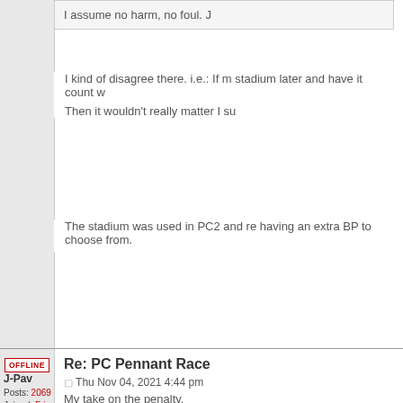I assume no harm, no foul. J
I kind of disagree there. i.e.: If m stadium later and have it count w Then it wouldn't really matter I su
The stadium was used in PC2 and re having an extra BP to choose from.
OFFLINE
Re: PC Pennant Race
J-Pav
Posts: 2069
Joined: Fri Aug 24, 2012 4:53 pm
Location: Earth
Thu Nov 04, 2021 4:44 pm
My take on the penalty.
I believe the quote (which came from standings anyway." was meant for fil
Having said that, my interpretation o